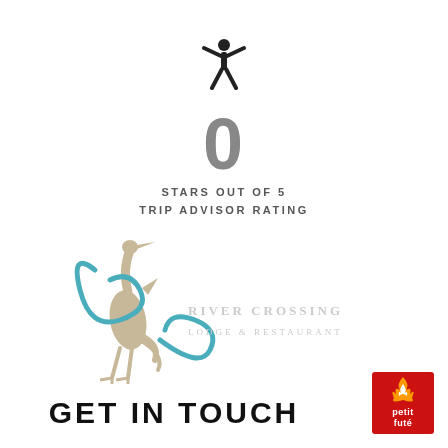[Figure (illustration): Black silhouette icon of a person with arms raised]
0
STARS OUT OF 5
TRIP ADVISOR RATING
[Figure (logo): River Crossing Lodge & Restaurant logo with teal and beige stylized R and C letters and a heron bird]
GET IN TOUCH
[Figure (logo): Petit Futé logo — red fire flame over 'petit futé' text in white on red background]